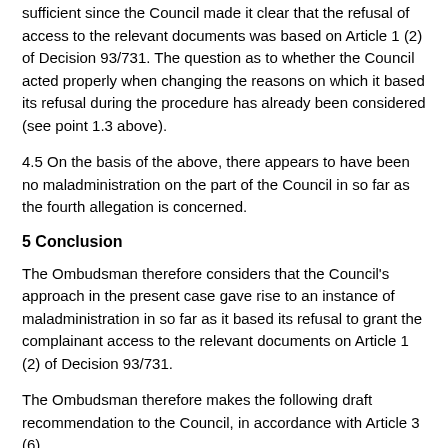sufficient since the Council made it clear that the refusal of access to the relevant documents was based on Article 1 (2) of Decision 93/731. The question as to whether the Council acted properly when changing the reasons on which it based its refusal during the procedure has already been considered (see point 1.3 above).
4.5 On the basis of the above, there appears to have been no maladministration on the part of the Council in so far as the fourth allegation is concerned.
5 Conclusion
The Ombudsman therefore considers that the Council's approach in the present case gave rise to an instance of maladministration in so far as it based its refusal to grant the complainant access to the relevant documents on Article 1 (2) of Decision 93/731.
The Ombudsman therefore makes the following draft recommendation to the Council, in accordance with Article 3 (6)...